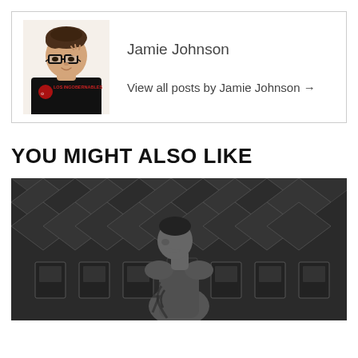[Figure (illustration): Illustrated avatar of a person with short brown hair wearing glasses and a black t-shirt with 'LOS INGOBERNABLES' text]
Jamie Johnson
View all posts by Jamie Johnson →
YOU MIGHT ALSO LIKE
[Figure (photo): Black and white photo of a muscular man with tattoos standing in front of a geometric ceiling structure with jersey banners in the background]